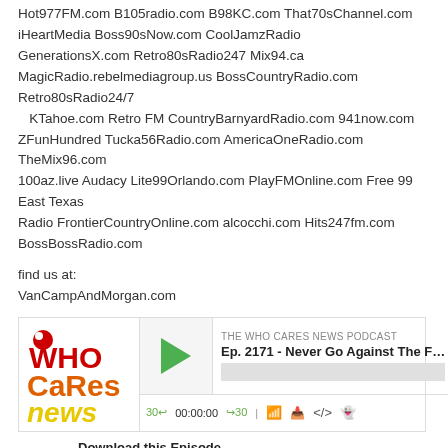Hot977FM.com B105radio.com B98KC.com That70sChannel.com iHeartMedia Boss90sNow.com CoolJamzRadio GenerationsX.com Retro80sRadio247 Mix94.ca MagicRadio.rebelmediagroup.us BossCountryRadio.com Retro80sRadio24/7 KTahoe.com Retro FM CountryBarnyardRadio.com 941now.com ZFunHundred Tucka56Radio.com AmericaOneRadio.com TheMix96.com 100az.live Audacy Lite99Orlando.com PlayFMOnline.com Free 99 East Texas Radio FrontierCountryOnline.com alcocchi.com Hits247fm.com BossBossRadio.com
find us at:
VanCampAndMorgan.com
[Figure (screenshot): Who Cares News podcast player widget showing episode Ep. 2171 - Never Go Against The F... with play button, progress bar, timer 00:00:00, skip controls, and podcast logo]
Download this Episode
Ep. 2170 - Not Done Yet